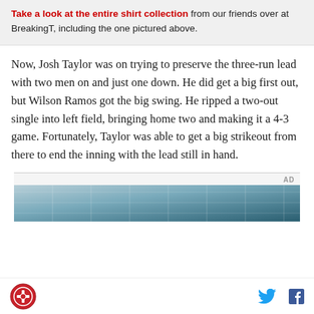Take a look at the entire shirt collection from our friends over at BreakingT, including the one pictured above.
Now, Josh Taylor was on trying to preserve the three-run lead with two men on and just one down. He did get a big first out, but Wilson Ramos got the big swing. He ripped a two-out single into left field, bringing home two and making it a 4-3 game. Fortunately, Taylor was able to get a big strikeout from there to end the inning with the lead still in hand.
[Figure (other): Advertisement box with 'AD' label and partial building/grid image at bottom]
Site logo, Twitter bird icon, Facebook f icon